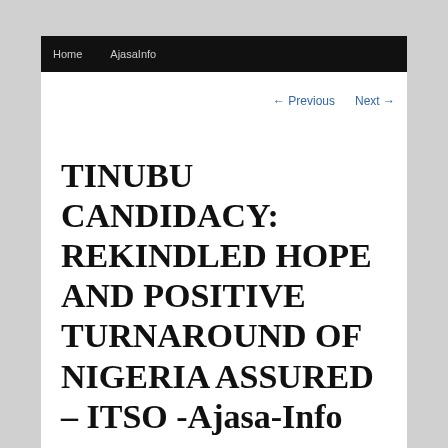Home   AjasaInfo
← Previous   Next →
TINUBU CANDIDACY: REKINDLED HOPE AND POSITIVE TURNAROUND OF NIGERIA ASSURED – ITSO -Ajasa-Info